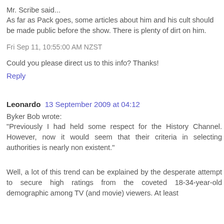Mr. Scribe said...
As far as Pack goes, some articles about him and his cult should be made public before the show. There is plenty of dirt on him.
Fri Sep 11, 10:55:00 AM NZST
Could you please direct us to this info? Thanks!
Reply
Leonardo  13 September 2009 at 04:12
Byker Bob wrote:
"Previously I had held some respect for the History Channel. However, now it would seem that their criteria in selecting authorities is nearly non existent."
Well, a lot of this trend can be explained by the desperate attempt to secure high ratings from the coveted 18-34-year-old demographic among TV (and movie) viewers. At least